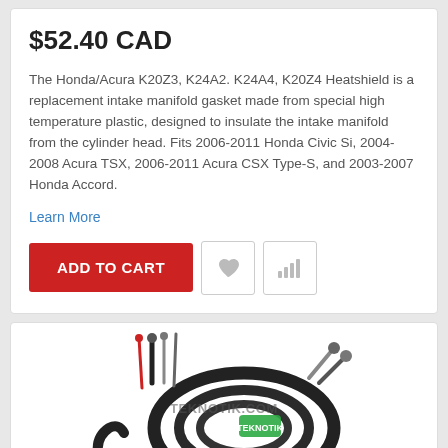$52.40 CAD
The Honda/Acura K20Z3, K24A2. K24A4, K20Z4 Heatshield is a replacement intake manifold gasket made from special high temperature plastic, designed to insulate the intake manifold from the cylinder head. Fits 2006-2011 Honda Civic Si, 2004-2008 Acura TSX, 2006-2011 Acura CSX Type-S, and 2003-2007 Honda Accord.
Learn More
[Figure (other): Product listing card with ADD TO CART button, heart icon button, and bar chart icon button]
[Figure (photo): Photo of a coiled black cable/wire product with connectors, overlaid with TEKNOTIK.COM watermark]